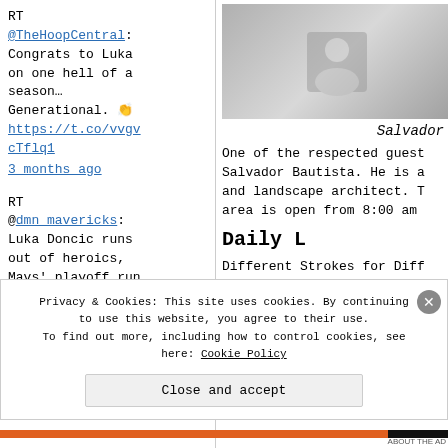[Figure (photo): Partial photo of a person, cropped at top right of the page]
Salvador
RT @TheHoopCentral: Congrats to Luka on one hell of a season… Generational. 👏 https://t.co/vvgvcTflq1
3 months ago
One of the respected guests is Salvador Bautista. He is a and landscape architect. T area is open from 8:00 am
Daily L
Different Strokes for Diff seminar)
by Dr. Salvador Bautista, Landscape Architect
Oct. 5 (Saturday) 2PM
RT @dmn_mavericks: Luka Doncic runs out of heroics, Mavs' playoff run ends in Game 5 loss to Warriors
Privacy & Cookies: This site uses cookies. By continuing to use this website, you agree to their use. To find out more, including how to control cookies, see here: Cookie Policy
Close and accept